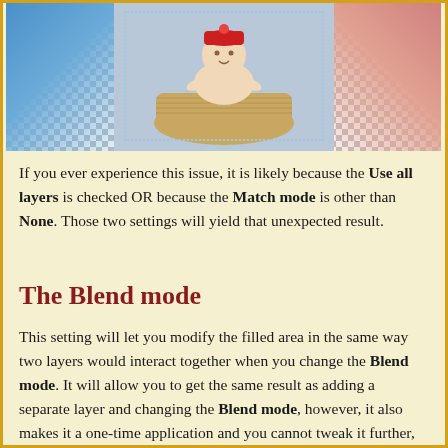[Figure (photo): A cropped photo showing a baby/child in blue and knitted surroundings, with a blue gradient on the left, pink/salmon gradient on the right, and a checkered transparent background pattern. A dotted border outlines the photo region.]
If you ever experience this issue, it is likely because the Use all layers is checked OR because the Match mode is other than None. Those two settings will yield that unexpected result.
The Blend mode
This setting will let you modify the filled area in the same way two layers would interact together when you change the Blend mode. It will allow you to get the same result as adding a separate layer and changing the Blend mode, however, it also makes it a one-time application and you cannot tweak it further, so just be careful.